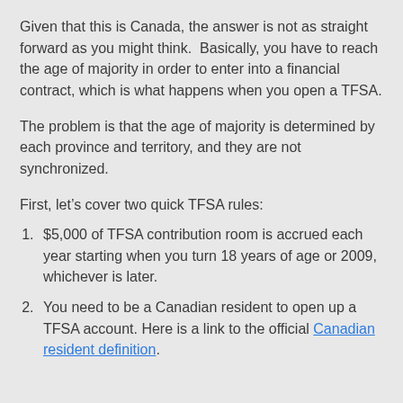Given that this is Canada, the answer is not as straight forward as you might think.  Basically, you have to reach the age of majority in order to enter into a financial contract, which is what happens when you open a TFSA.
The problem is that the age of majority is determined by each province and territory, and they are not synchronized.
First, let’s cover two quick TFSA rules:
$5,000 of TFSA contribution room is accrued each year starting when you turn 18 years of age or 2009, whichever is later.
You need to be a Canadian resident to open up a TFSA account. Here is a link to the official Canadian resident definition.